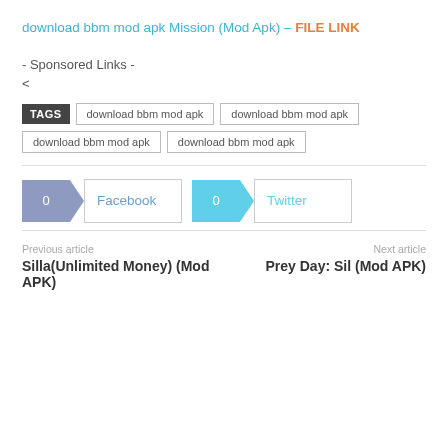download bbm mod apk Mission (Mod Apk) – FILE LINK
- Sponsored Links -
<
TAGS  download bbm mod apk  download bbm mod apk  download bbm mod apk  download bbm mod apk
[Figure (other): Facebook and Twitter social share buttons with arrow-tab styling]
Previous article
Silla(Unlimited Money) (Mod APK)
Next article
Prey Day: Sil (Mod APK)